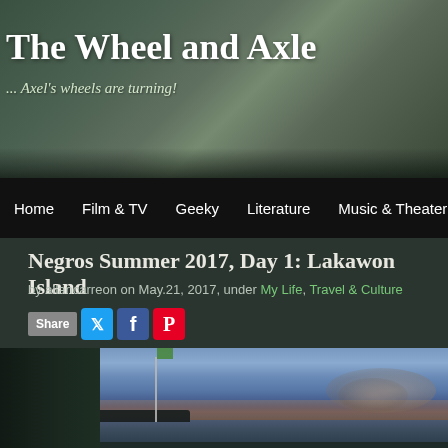The Wheel and Axle
... Axel's wheels are turning!
Home | Film & TV | Geeky | Literature | Music & Theater | My
Negros Summer 2017, Day 1: Lakawon Island
by allancarreon on May.21, 2017, under My Life, Travel & Culture
[Figure (other): Share buttons: Twitter, Facebook, Pinterest]
[Figure (photo): Outdoor sunset/dusk photo showing a beach scene with a flagpole (green flag), clouds on the horizon, water, and silhouetted landmass — Lakawon Island, Negros, Philippines]